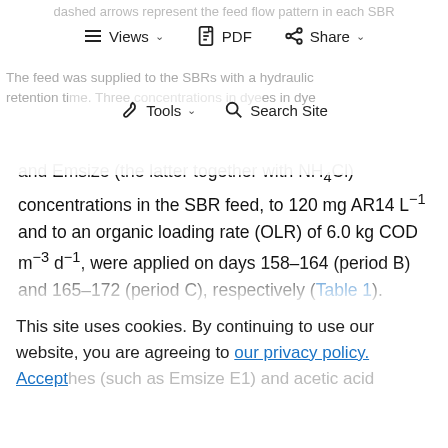dashed arrows represent the feed flow pattern in each SBR
[Figure (screenshot): Browser toolbar with Views, PDF, Share, Tools, Search Site buttons]
The feed was supplied to the SBRs with a hydraulic retention time. Three concentrations in dye and Emsize (the latter together with NH4Cl) concentrations in the SBR feed, to 120 mg AR14 L⁻¹ and to an organic loading rate (OLR) of 6.0 kg COD m⁻³ d⁻¹, were applied on days 158–164 (period B) and 165–172 (period C), respectively (Table 1). Following a transitional period, when the original operating conditions were restored (days 173–179, period A), acetate was introduced in the feed, the carbon source being changed from 100% to 50%
This site uses cookies. By continuing to use our website, you are agreeing to our privacy policy. Accept
hes (such as Emsize E1) and acetic acid